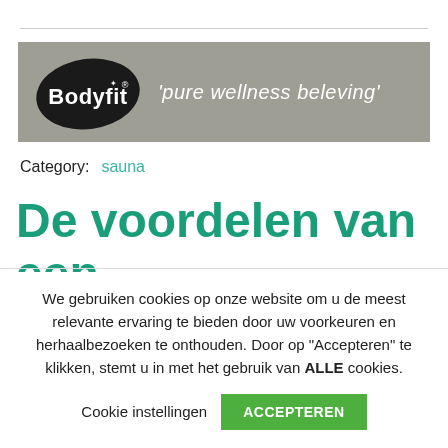[Figure (logo): Bodyfit logo banner with black oval logo shape and text 'Bodyfit' in white bold font with a small crown/star above the dot on the i, on a grey background, with tagline "'pure wellness beleving'" in white italic text]
Category:  sauna
De voordelen van een
We gebruiken cookies op onze website om u de meest relevante ervaring te bieden door uw voorkeuren en herhaalbezoeken te onthouden. Door op “Accepteren” te klikken, stemt u in met het gebruik van ALLE cookies.
Cookie instellingen  ACCEPTEREN